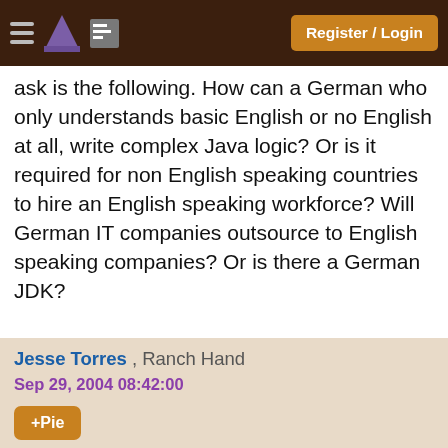Register / Login
ask is the following. How can a German who only understands basic English or no English at all, write complex Java logic? Or is it required for non English speaking countries to hire an English speaking workforce? Will German IT companies outsource to English speaking companies? Or is there a German JDK?
Jesse Torres , Ranch Hand
Sep 29, 2004 08:42:00
+Pie
““ Originally posted by Frank Silbermann:
Wasn't Java (part of) a Dutch colony at one time?